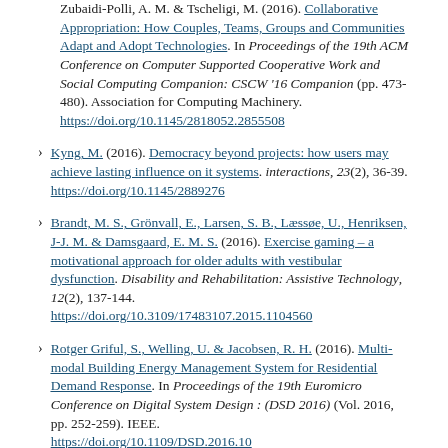Zubaidi-Polli, A. M. & Tscheligi, M. (2016). Collaborative Appropriation: How Couples, Teams, Groups and Communities Adapt and Adopt Technologies. In Proceedings of the 19th ACM Conference on Computer Supported Cooperative Work and Social Computing Companion: CSCW '16 Companion (pp. 473-480). Association for Computing Machinery. https://doi.org/10.1145/2818052.2855508
Kyng, M. (2016). Democracy beyond projects: how users may achieve lasting influence on it systems. interactions, 23(2), 36-39. https://doi.org/10.1145/2889276
Brandt, M. S., Grönvall, E., Larsen, S. B., Læssøe, U., Henriksen, J-J. M. & Damsgaard, E. M. S. (2016). Exercise gaming – a motivational approach for older adults with vestibular dysfunction. Disability and Rehabilitation: Assistive Technology, 12(2), 137-144. https://doi.org/10.3109/17483107.2015.1104560
Rotger Griful, S., Welling, U. & Jacobsen, R. H. (2016). Multi-modal Building Energy Management System for Residential Demand Response. In Proceedings of the 19th Euromicro Conference on Digital System Design : (DSD 2016) (Vol. 2016, pp. 252-259). IEEE. https://doi.org/10.1109/DSD.2016.10